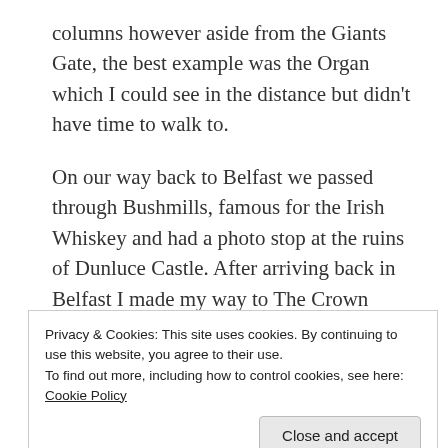columns however aside from the Giants Gate, the best example was the Organ which I could see in the distance but didn't have time to walk to.
On our way back to Belfast we passed through Bushmills, famous for the Irish Whiskey and had a photo stop at the ruins of Dunluce Castle. After arriving back in Belfast I made my way to The Crown Liquor Saloon one of the famous bars in the city. Work hadn't quite finished so I was able to find a seat at the bar and enjoyed a pleasant Guinness in the former Gin Palace.
Privacy & Cookies: This site uses cookies. By continuing to use this website, you agree to their use.
To find out more, including how to control cookies, see here: Cookie Policy
Close and accept